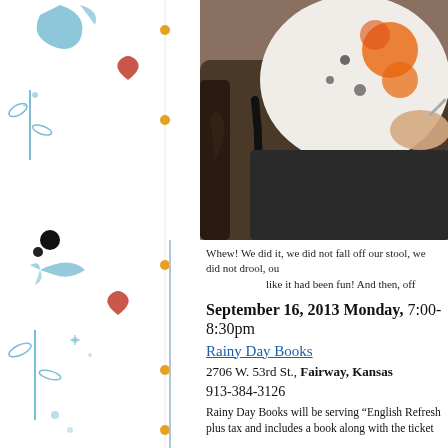[Figure (illustration): Decorative left border with blue floral/botanical illustrations, red heart shapes, black dots, and orange dot markers along a vertical line]
[Figure (photo): Person sitting in a leather chair wearing a black, white and orange floral top and dark pants, appears to be writing or signing something]
Whew!  We did it, we did not fall off our stool, we did not drool, ou like it had been fun!  And then, off
September 16, 2013  Monday, 7:00-8:30pm
Rainy Day Books
2706 W. 53rd St., Fairway, Kansas
913-384-3126
Rainy Day Books will be serving "English Refresh plus tax and includes a book along with the ticket